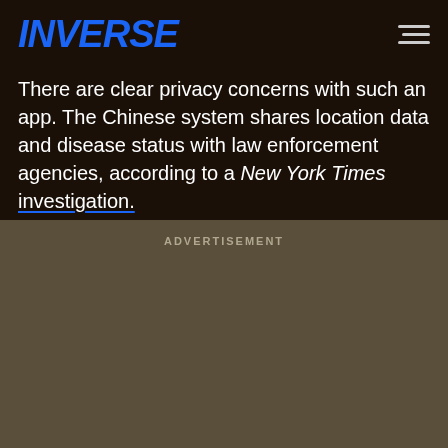INVERSE
There are clear privacy concerns with such an app. The Chinese system shares location data and disease status with law enforcement agencies, according to a New York Times investigation.
ADVERTISEMENT